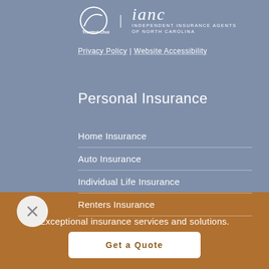[Figure (logo): Trusted Choice logo with circular swoosh icon and IANC (Independent Insurance Agents of North Carolina) branding]
Privacy Policy | Website Accessibility
Personal Insurance
Home Insurance
Auto Insurance
Individual Life Insurance
Renters Insurance
Exceptional insurance services and solutions.
Get a Quote